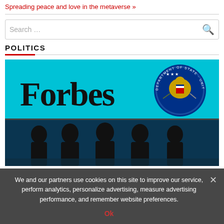Spreading peace and love in the metaverse »
POLITICS
[Figure (screenshot): News article thumbnail showing Forbes logo on a teal/cyan background with the US Department of State seal, and silhouettes of people seated in front of a screen.]
We and our partners use cookies on this site to improve our service, perform analytics, personalize advertising, measure advertising performance, and remember website preferences.
Ok